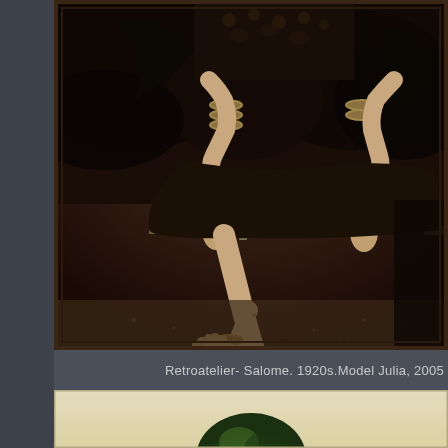[Figure (photo): Sepia-toned vintage photograph showing a woman in 1920s costume seated on the ground, wearing bracelets and rings, holding a sword across her lap, with one bare foot extended forward. The image is partially cropped showing mainly lower body and hands.]
Retroatelier- Salome. 1920s.Model Julia, 2005
[Figure (photo): Partial view of a second vintage-style photograph with cream/ivory background showing the top of a dark green object at bottom center, partially cropped at page edge.]